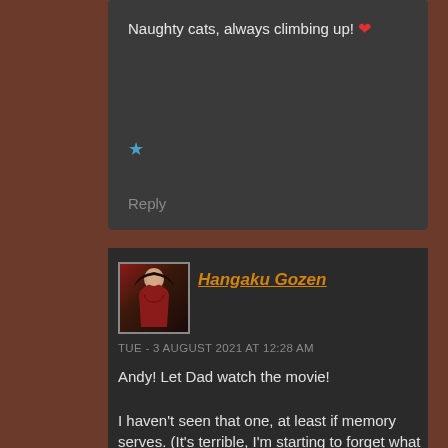Naughty cats, always climbing up! ❤
★
Reply
Hangaku Gozen
TUE - 3 AUGUST 2021 AT 12:28 AM
Andy! Let Dad watch the movie!

I haven't seen that one, at least if memory serves. (It's terrible, I'm starting to forget what movies I've seen over the 40 odd years of being a film buff.) Did you like it?